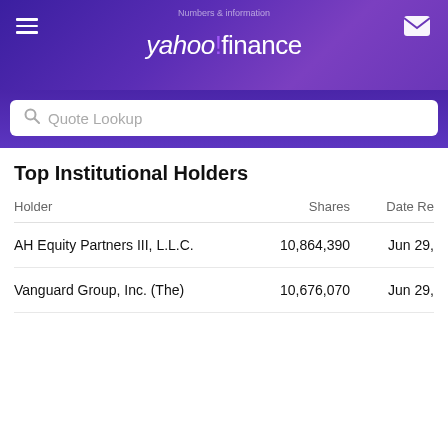yahoo! finance
Quote Lookup
Top Institutional Holders
| Holder | Shares | Date Re |
| --- | --- | --- |
| AH Equity Partners III, L.L.C. | 10,864,390 | Jun 29, |
| Vanguard Group, Inc. (The) | 10,676,070 | Jun 29, |